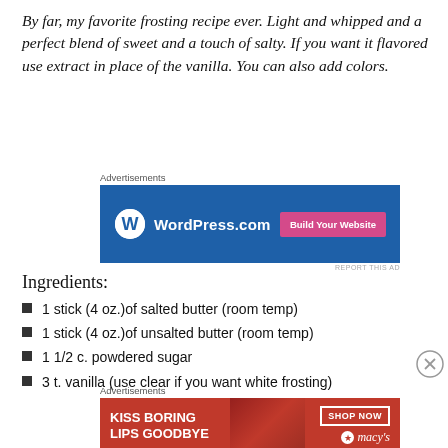By far, my favorite frosting recipe ever.  Light and whipped and a perfect blend of sweet and a touch of salty.  If you want it flavored use extract in place of the vanilla.  You can also add colors.
[Figure (screenshot): WordPress.com advertisement banner with blue background, WordPress logo, and pink 'Build Your Website' button]
Ingredients:
1 stick (4 oz.)of salted butter (room temp)
1 stick (4 oz.)of unsalted butter (room temp)
1 1/2 c. powdered sugar
3 t. vanilla (use clear if you want white frosting)
[Figure (screenshot): Macy's advertisement banner: 'KISS BORING LIPS GOODBYE' with SHOP NOW button and Macy's star logo, showing a woman's face with red lips]